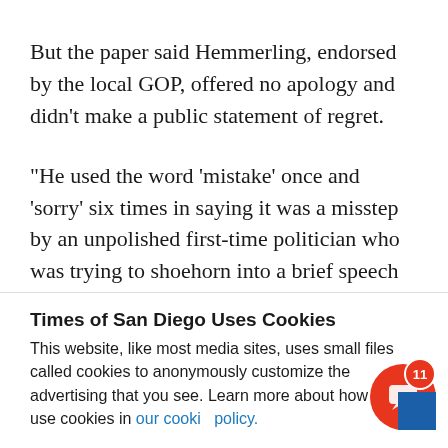But the paper said Hemmerling, endorsed by the local GOP, offered no apology and didn't make a public statement of regret.
“He used the word ‘mistake’ once and ‘sorry’ six times in saying it was a misstep by an unpolished first-time politician who was trying to shoehorn into a brief speech an issue that some in the crowd
Times of San Diego Uses Cookies
This website, like most media sites, uses small files called cookies to anonymously customize the advertising that you see. Learn more about how we use cookies in our cookie policy.